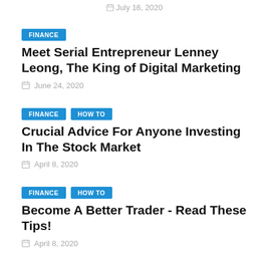July 16, 2020
FINANCE
Meet Serial Entrepreneur Lenney Leong, The King of Digital Marketing
June 24, 2020
FINANCE  HOW TO
Crucial Advice For Anyone Investing In The Stock Market
April 8, 2020
FINANCE  HOW TO
Become A Better Trader - Read These Tips!
April 8, 2020